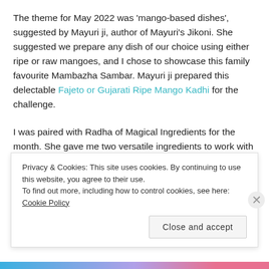The theme for May 2022 was 'mango-based dishes', suggested by Mayuri ji, author of Mayuri's Jikoni. She suggested we prepare any dish of our choice using either ripe or raw mangoes, and I chose to showcase this family favourite Mambazha Sambar. Mayuri ji prepared this delectable Fajeto or Gujarati Ripe Mango Kadhi for the challenge.
I was paired with Radha of Magical Ingredients for the month. She gave me two versatile ingredients to work with – salt and curry leaves – which fit right into this
Privacy & Cookies: This site uses cookies. By continuing to use this website, you agree to their use.
To find out more, including how to control cookies, see here: Cookie Policy